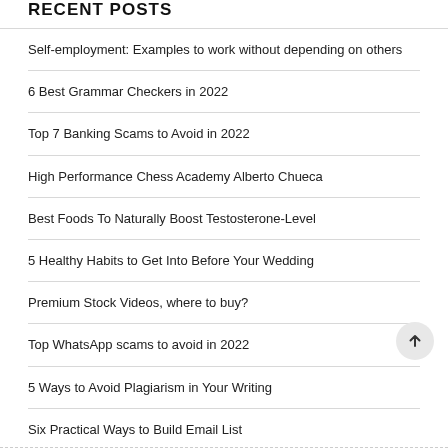RECENT POSTS
Self-employment: Examples to work without depending on others
6 Best Grammar Checkers in 2022
Top 7 Banking Scams to Avoid in 2022
High Performance Chess Academy Alberto Chueca
Best Foods To Naturally Boost Testosterone-Level
5 Healthy Habits to Get Into Before Your Wedding
Premium Stock Videos, where to buy?
Top WhatsApp scams to avoid in 2022
5 Ways to Avoid Plagiarism in Your Writing
Six Practical Ways to Build Email List